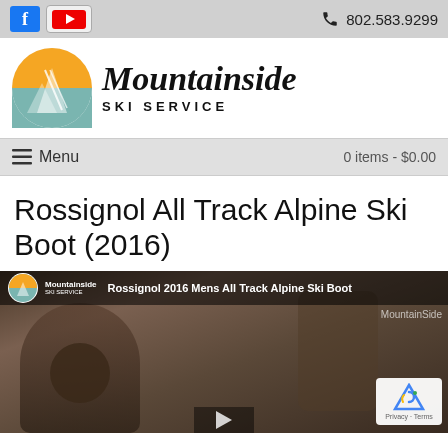802.583.9299
[Figure (logo): Mountainside Ski Service logo — circular mountain graphic with orange and teal colors, script wordmark 'Mountainside SKI SERVICE']
≡ Menu    0 items - $0.00
Rossignol All Track Alpine Ski Boot (2016)
[Figure (screenshot): Video thumbnail showing Rossignol 2016 Mens All Track Alpine Ski Boot review video with Mountainside logo overlay and MountainSide watermark, reCAPTCHA badge visible]